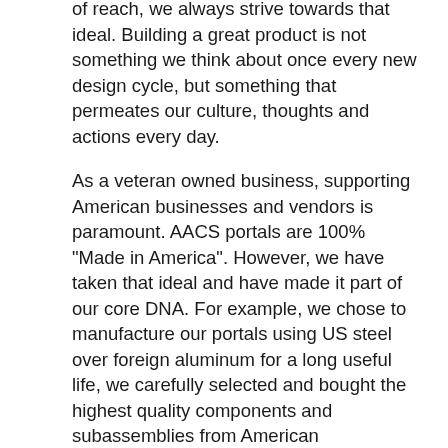of reach, we always strive towards that ideal. Building a great product is not something we think about once every new design cycle, but something that permeates our culture, thoughts and actions every day.
As a veteran owned business, supporting American businesses and vendors is paramount. AACS portals are 100% "Made in America". However, we have taken that ideal and have made it part of our core DNA. For example, we chose to manufacture our portals using US steel over foreign aluminum for a long useful life, we carefully selected and bought the highest quality components and subassemblies from American manufacturers, we designed our portals using American engineers, we assemble portals in our factory in West Virginia, and our technicians are highly trained Americans. This philosophy extends even to our web design firm and outside consultants.